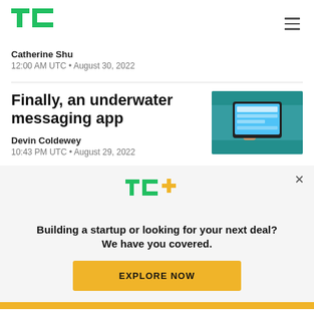[Figure (logo): TechCrunch TC green logo]
Catherine Shu
12:00 AM UTC • August 30, 2022
Finally, an underwater messaging app
[Figure (photo): Person holding a tablet underwater in a pool]
Devin Coldewey
10:43 PM UTC • August 29, 2022
[Figure (logo): TC+ green and yellow logo]
Building a startup or looking for your next deal? We have you covered.
EXPLORE NOW